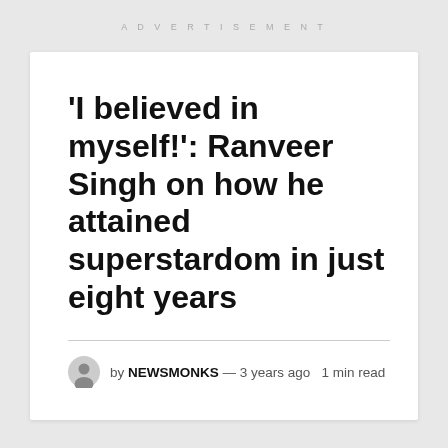ADVERTISEMENT
'I believed in myself!': Ranveer Singh on how he attained superstardom in just eight years
by NEWSMONKS — 3 years ago  1 min read